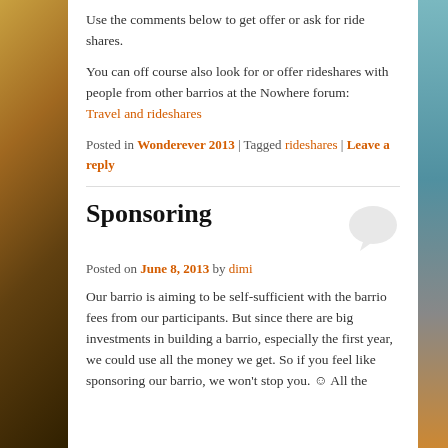Use the comments below to get offer or ask for ride shares.
You can off course also look for or offer rideshares with people from other barrios at the Nowhere forum: Travel and rideshares
Posted in Wonderever 2013 | Tagged rideshares | Leave a reply
Sponsoring
Posted on June 8, 2013 by dimi
Our barrio is aiming to be self-sufficient with the barrio fees from our participants. But since there are big investments in building a barrio, especially the first year, we could use all the money we get. So if you feel like sponsoring our barrio, we won't stop you. ☺ All the